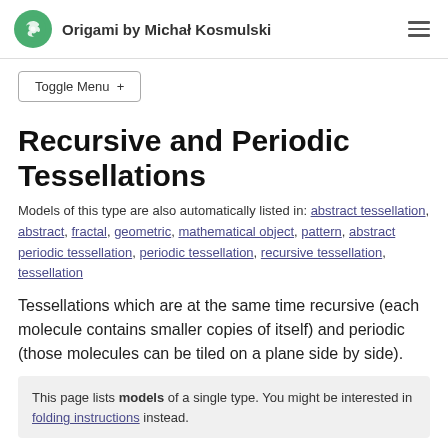Origami by Michał Kosmulski
Toggle Menu +
Recursive and Periodic Tessellations
Models of this type are also automatically listed in: abstract tessellation, abstract, fractal, geometric, mathematical object, pattern, abstract periodic tessellation, periodic tessellation, recursive tessellation, tessellation
Tessellations which are at the same time recursive (each molecule contains smaller copies of itself) and periodic (those molecules can be tiled on a plane side by side).
This page lists models of a single type. You might be interested in folding instructions instead.